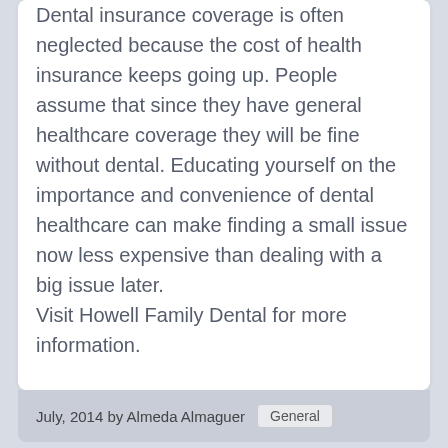Dental insurance coverage is often neglected because the cost of health insurance keeps going up. People assume that since they have general healthcare coverage they will be fine without dental. Educating yourself on the importance and convenience of dental healthcare can make finding a small issue now less expensive than dealing with a big issue later. Visit Howell Family Dental for more information.
July, 2014 by Almeda Almaguer   General
You may also like...